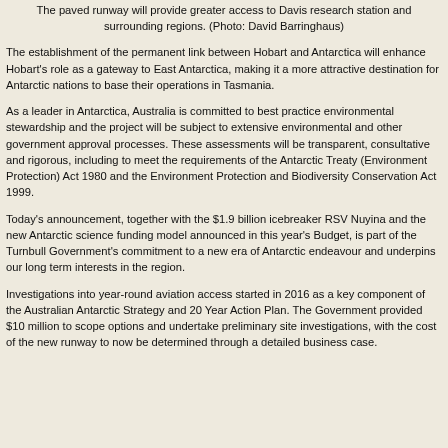The paved runway will provide greater access to Davis research station and surrounding regions. (Photo: David Barringhaus)
The establishment of the permanent link between Hobart and Antarctica will enhance Hobart's role as a gateway to East Antarctica, making it a more attractive destination for Antarctic nations to base their operations in Tasmania.
As a leader in Antarctica, Australia is committed to best practice environmental stewardship and the project will be subject to extensive environmental and other government approval processes. These assessments will be transparent, consultative and rigorous, including to meet the requirements of the Antarctic Treaty (Environment Protection) Act 1980 and the Environment Protection and Biodiversity Conservation Act 1999.
Today's announcement, together with the $1.9 billion icebreaker RSV Nuyina and the new Antarctic science funding model announced in this year's Budget, is part of the Turnbull Government's commitment to a new era of Antarctic endeavour and underpins our long term interests in the region.
Investigations into year-round aviation access started in 2016 as a key component of the Australian Antarctic Strategy and 20 Year Action Plan. The Government provided $10 million to scope options and undertake preliminary site investigations, with the cost of the new runway to now be determined through a detailed business case.